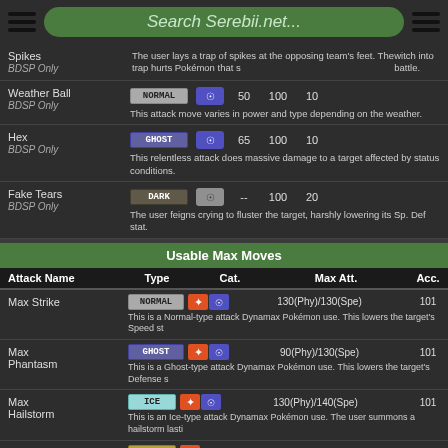Search Serebii.net...
| Attack Name | Type | Cat. | Pwr. | Acc. | PP |
| --- | --- | --- | --- | --- | --- |
| Spikes BDSP Only |  |  |  |  |  | The user lays a trap of spikes at the opposing team's feet. The trap hurts Pokémon that switch into battle. |
| Weather Ball BDSP Only | NORMAL | Special | 50 | 100 | 10 | This attack move varies in power and type depending on the weather. |
| Hex BDSP Only | GHOST | Special | 65 | 100 | 10 | This relentless attack does massive damage to a target affected by status conditions. |
| Fake Tears BDSP Only | DARK | Status | -- | 100 | 20 | The user feigns crying to fluster the target, harshly lowering its Sp. Def stat. |
Usable Max Moves
| Attack Name | Type | Cat. | Max Att. | Acc. |
| --- | --- | --- | --- | --- |
| Max Strike | NORMAL | Physical/Special | 130(Phy)/130(Spe) | 101 | This is a Normal-type attack Dynamax Pokémon use. This lowers the target's Speed st... |
| Max Phantasm | GHOST | Physical/Special | 90(Phy)/130(Spe) | 101 | This is a Ghost-type attack Dynamax Pokémon use. This lowers the target's Defense s... |
| Max Hailstorm | ICE | Physical/Special | 130(Phy)/140(Spe) | 101 | This is an Ice-type attack Dynamax Pokémon use. The user summons a hailstorm lasti... |
| Max Rockfall | ROCK | Physical | 90 | 101 |  |